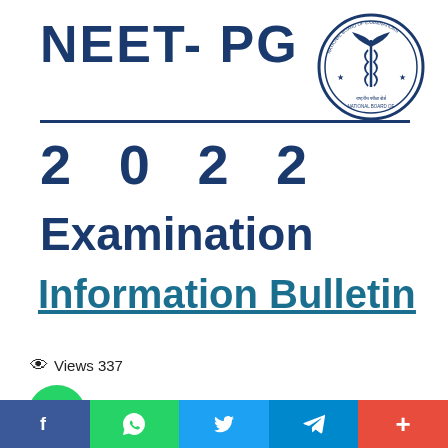NEET- PG
[Figure (logo): National Board of Examinations in Medical Sciences circular seal/emblem with caduceus symbol]
2 0 2 2
Examination
Information Bulletin
Views 337
[Figure (illustration): WhatsApp green circle icon with phone handset]
[Figure (infographic): Social media share bar with Facebook, WhatsApp, Twitter, Telegram, and More buttons]